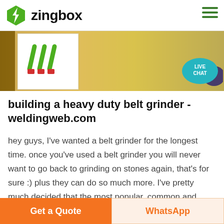zingbox
[Figure (screenshot): Partial screenshot of a welding-related image with a white card showing a green welding/spark icon (three diagonal lightning bolt lines in green with red bases) on the left, and a golden/yellow background image on the right. A teal 'LIVE CHAT' speech bubble is in the top-right corner.]
building a heavy duty belt grinder - weldingweb.com
hey guys, I've wanted a belt grinder for the longest time. once you've used a belt grinder you will never want to go back to grinding on stones again, that's for sure :) plus they can do so much more. I've pretty much decided that the most popular, common and versatile
Get a Quote | WhatsApp